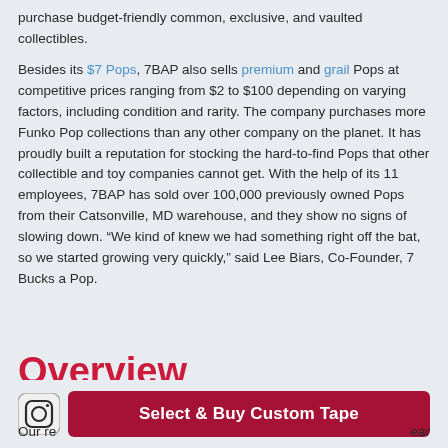purchase budget-friendly common, exclusive, and vaulted collectibles.

Besides its $7 Pops, 7BAP also sells premium and grail Pops at competitive prices ranging from $2 to $100 depending on varying factors, including condition and rarity. The company purchases more Funko Pop collections than any other company on the planet. It has proudly built a reputation for stocking the hard-to-find Pops that other collectible and toy companies cannot get. With the help of its 11 employees, 7BAP has sold over 100,000 previously owned Pops from their Catsonville, MD warehouse, and they show no signs of slowing down. “We kind of knew we had something right off the bat, so we started growing very quickly,” said Lee Biars, Co-Founder, 7 Bucks a Pop.
Overview
[Figure (logo): Instagram icon (rounded square with camera symbol)]
Select & Buy Custom Tape
Our re... ear